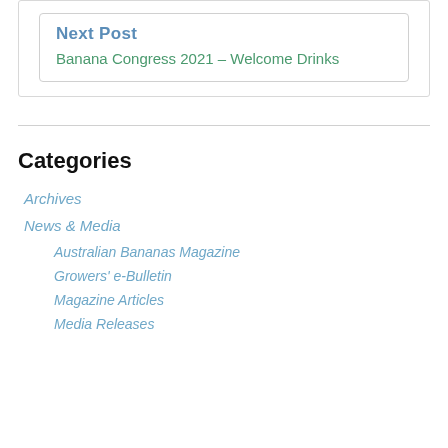Next Post
Banana Congress 2021 – Welcome Drinks
Categories
Archives
News & Media
Australian Bananas Magazine
Growers' e-Bulletin
Magazine Articles
Media Releases